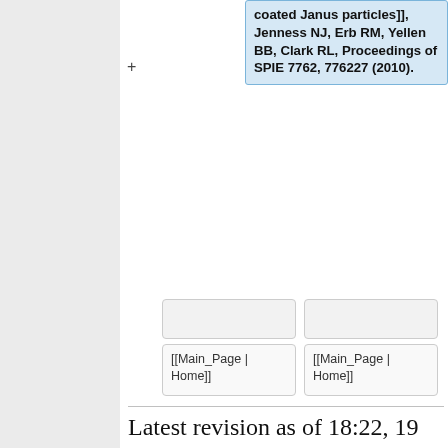coated Janus particles]], Jenness NJ, Erb RM, Yellen BB, Clark RL, Proceedings of SPIE 7762, 776227 (2010).
[[Main_Page | Home]]
[[Main_Page | Home]]
Latest revision as of 18:22, 19 April 2012
Home
Papers from outside SEAS, interesting and important. These have already been entered in the wiki. Edits are welcome. Additional papers are welcome.